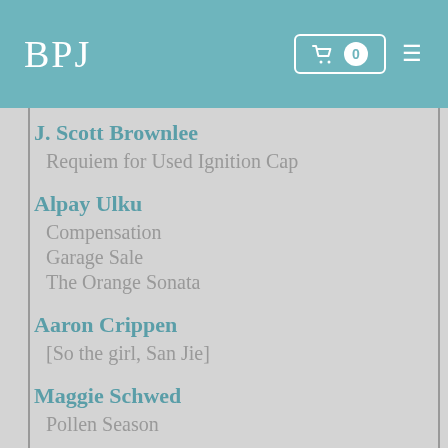BPJ
J. Scott Brownlee
Requiem for Used Ignition Cap
Alpay Ulku
Compensation
Garage Sale
The Orange Sonata
Aaron Crippen
[So the girl, San Jie]
Maggie Schwed
Pollen Season
Heather Dobbins
In the Low Houses